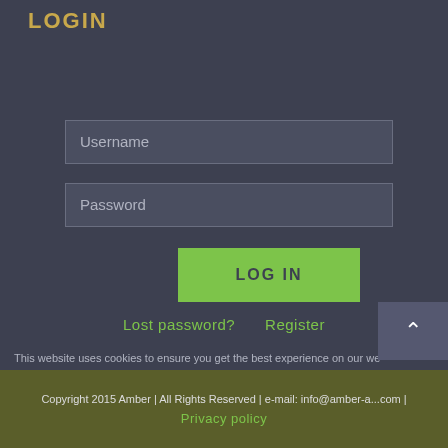LOGIN
Username
Password
LOG IN
Lost password?
Register
This website uses cookies to ensure you get the best experience on our we
Copyright 2015 Amber | All Rights Reserved | e-mail: info@amber-a...com | Privacy policy